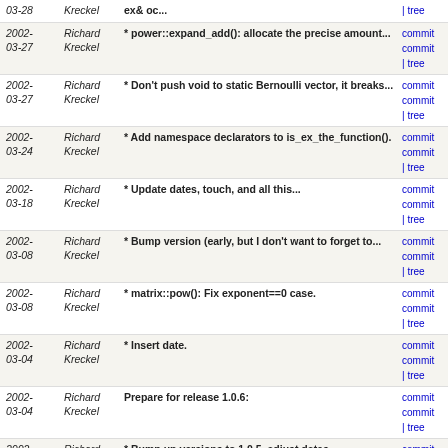2002-03-28 Richard Kreckel * ex& oc... | tree
2002-03-27 Richard Kreckel * power::expand_add(): allocate the precise amount... commit commit | tree
2002-03-27 Richard Kreckel * Don't push void to static Bernoulli vector, it breaks... commit commit | tree
2002-03-24 Richard Kreckel * Add namespace declarators to is_ex_the_function(). commit commit | tree
2002-03-18 Richard Kreckel * Update dates, touch, and all this... commit commit | tree
2002-03-08 Richard Kreckel * Bump version (early, but I don't want to forget to... commit commit | tree
2002-03-08 Richard Kreckel * matrix::pow(): Fix exponent==0 case. commit commit | tree
2002-03-04 Richard Kreckel * Insert date. commit commit | tree
2002-03-04 Richard Kreckel Prepare for release 1.0.6: commit commit | tree
2002-01-27 Richard Kreckel * Bump up versions to 1.0.5, adjust dates. commit commit | tree
2002-01-26 Richard Kreckel * Add Roberto Bagnara. commit commit | tree
2002-01-26 Richard Kreckel * numeric::print(): Treat imaginary numbers correctly. commit commit | tree
2002-01-25 Richard Kreckel * Finalize version 1.0.4 (version numbers, copyrights... commit commit | tree
2002-01-25 Richard Kreckel * mul::expand(): Considerable speedup through caching... commit commit | tree